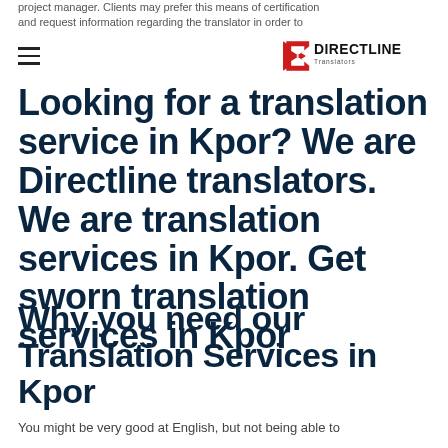project manager. Clients may prefer this means of certification and request information regarding the translator in order to
[Figure (logo): Directline Translators logo with red arrow/D icon and DIRECTLINE Translators text]
Looking for a translation service in Kpor? We are Directline translators. We are translation services in Kpor. Get sworn translation services in Kpor
Why you need our Translation Services in Kpor
You might be very good at English, but not being able to